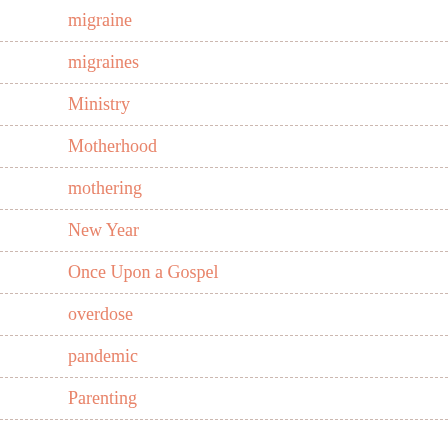migraine
migraines
Ministry
Motherhood
mothering
New Year
Once Upon a Gospel
overdose
pandemic
Parenting